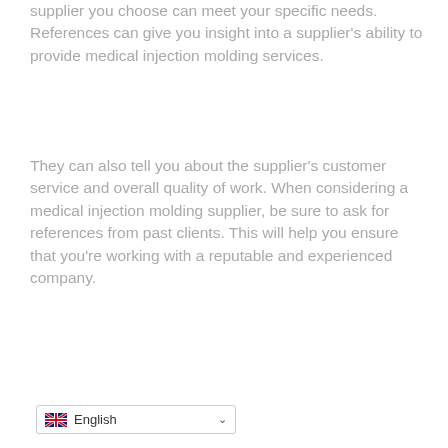supplier you choose can meet your specific needs. References can give you insight into a supplier's ability to provide medical injection molding services.
They can also tell you about the supplier's customer service and overall quality of work. When considering a medical injection molding supplier, be sure to ask for references from past clients. This will help you ensure that you're working with a reputable and experienced company.
English